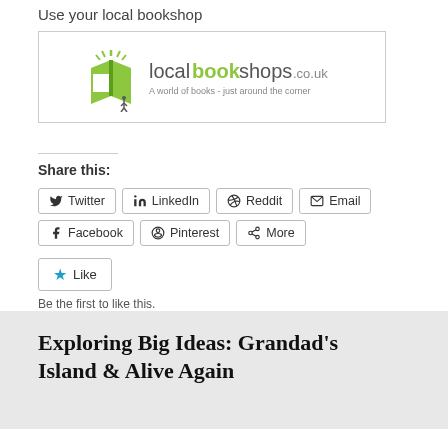Use your local bookshop
[Figure (logo): localbookshops.co.uk logo — green open book icon with text 'localbookshops.co.uk' and tagline 'A world of books - just around the corner']
Share this:
Twitter
LinkedIn
Reddit
Email
Facebook
Pinterest
More
Like
Be the first to like this.
Exploring Big Ideas: Grandad's Island & Alive Again